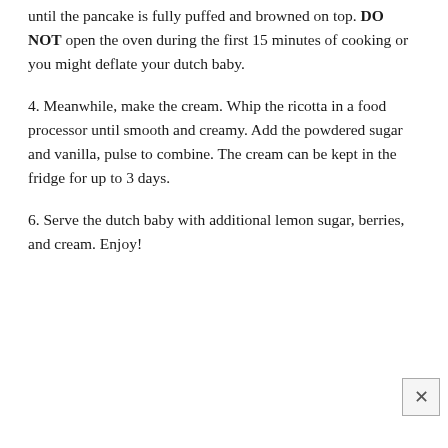until the pancake is fully puffed and browned on top. DO NOT open the oven during the first 15 minutes of cooking or you might deflate your dutch baby.
4. Meanwhile, make the cream. Whip the ricotta in a food processor until smooth and creamy. Add the powdered sugar and vanilla, pulse to combine. The cream can be kept in the fridge for up to 3 days.
6. Serve the dutch baby with additional lemon sugar, berries, and cream. Enjoy!